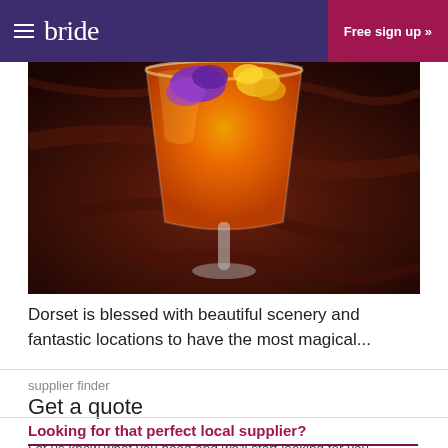bride | Free sign up »
[Figure (photo): Orange cocktail in a martini glass garnished with purple and yellow flowers, on a dark marble surface]
Dorset is blessed with beautiful scenery and fantastic locations to have the most magical...
supplier finder
Get a quote
Looking for that perfect local supplier? Let us know what you need and we'll start looking for you.